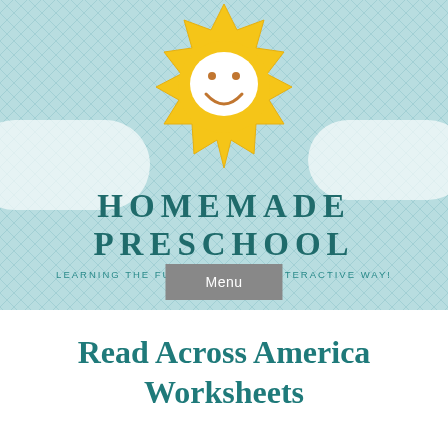[Figure (logo): Homemade Preschool logo: cartoon smiling sun with heart-shaped white face on a light blue crosshatch-patterned background with white clouds. Text reads HOMEMADE PRESCHOOL in teal bold letters and tagline LEARNING THE FUN, SIMPLE AND INTERACTIVE WAY! Menu button below.]
Read Across America Worksheets